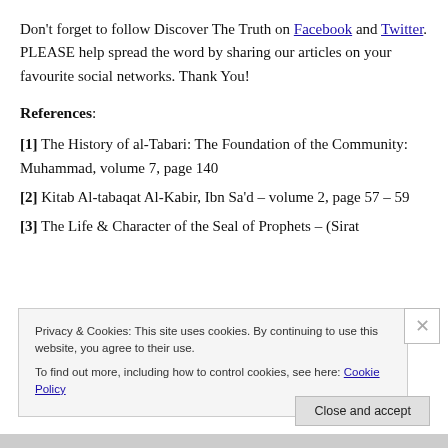Don't forget to follow Discover The Truth on Facebook and Twitter. PLEASE help spread the word by sharing our articles on your favourite social networks. Thank You!
References:
[1] The History of al-Tabari: The Foundation of the Community: Muhammad, volume 7, page 140
[2] Kitab Al-tabaqat Al-Kabir, Ibn Sa'd – volume 2, page 57 – 59
[3] The Life & Character of the Seal of Prophets – (Sirat
Privacy & Cookies: This site uses cookies. By continuing to use this website, you agree to their use. To find out more, including how to control cookies, see here: Cookie Policy